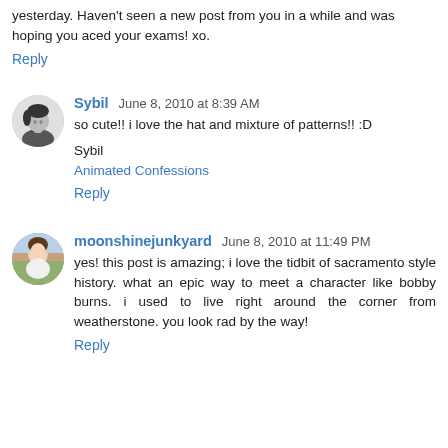yesterday. Haven't seen a new post from you in a while and was hoping you aced your exams! xo.
Reply
Sybil  June 8, 2010 at 8:39 AM
so cute!! i love the hat and mixture of patterns!! :D
Sybil
Animated Confessions
Reply
moonshinejunkyard  June 8, 2010 at 11:49 PM
yes! this post is amazing; i love the tidbit of sacramento style history. what an epic way to meet a character like bobby burns. i used to live right around the corner from weatherstone. you look rad by the way!
Reply